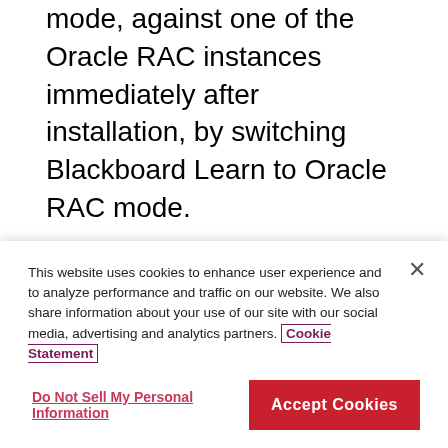mode, against one of the Oracle RAC instances immediately after installation, by switching Blackboard Learn to Oracle RAC mode.
To upgrade, you must first switch Blackboard Learn to single instance mode, perform the upgrade, and then switch back to Oracle RAC mode.
Because the Oracle RAC architecture has been set up to support Blackboard Learn, this section
This website uses cookies to enhance user experience and to analyze performance and traffic on our website. We also share information about your use of our site with our social media, advertising and analytics partners. Cookie Statement
Do Not Sell My Personal Information
Accept Cookies